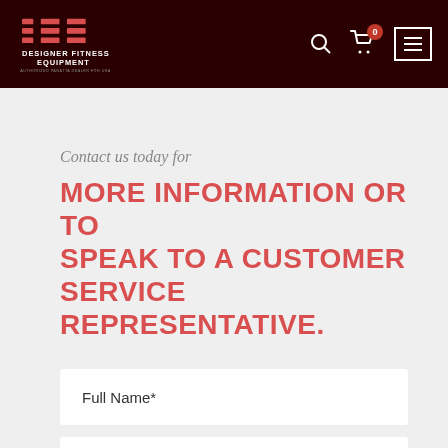Designer Fitness Equipment — Authorized Panatta Dealer for USA
Contact us today for
MORE INFORMATION OR TO SPEAK TO A CUSTOMER SERVICE REPRESENTATIVE.
Full Name*
Email*